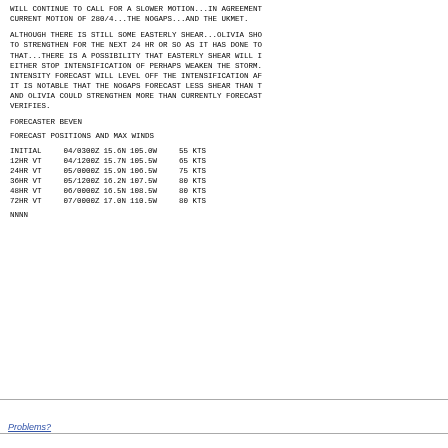WILL CONTINUE TO CALL FOR A SLOWER MOTION...IN AGREEMENT WITH THE CURRENT MOTION OF 280/4...THE NOGAPS...AND THE UKMET.
ALTHOUGH THERE IS STILL SOME EASTERLY SHEAR...OLIVIA SHOULD CONTINUE TO STRENGTHEN FOR THE NEXT 24 HR OR SO AS IT HAS DONE TODAY. AFTER THAT...THERE IS A POSSIBILITY THAT EASTERLY SHEAR WILL INCREASE AND EITHER STOP INTENSIFICATION OF PERHAPS WEAKEN THE STORM. THE OFFICIAL INTENSITY FORECAST WILL LEVEL OFF THE INTENSIFICATION AFTER 36 HOURS. IT IS NOTABLE THAT THE NOGAPS FORECAST LESS SHEAR THAN THE ECMWF AND OLIVIA COULD STRENGTHEN MORE THAN CURRENTLY FORECAST IF NOGAPS VERIFIES.
FORECASTER BEVEN
FORECAST POSITIONS AND MAX WINDS
| TIME | DATE/TIME | LAT | LON | WINDS |
| --- | --- | --- | --- | --- |
| INITIAL | 04/0300Z | 15.6N | 105.0W | 55 KTS |
| 12HR VT | 04/1200Z | 15.7N | 105.5W | 65 KTS |
| 24HR VT | 05/0000Z | 15.9N | 106.5W | 75 KTS |
| 36HR VT | 05/1200Z | 16.2N | 107.5W | 80 KTS |
| 48HR VT | 06/0000Z | 16.5N | 108.5W | 80 KTS |
| 72HR VT | 07/0000Z | 17.0N | 110.5W | 80 KTS |
NNNN
Problems?